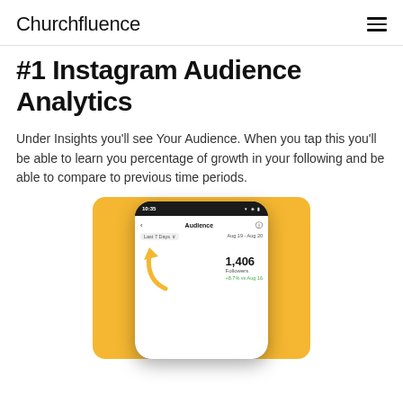Churchfluence
#1 Instagram Audience Analytics
Under Insights you'll see Your Audience. When you tap this you'll be able to learn you percentage of growth in your following and be able to compare to previous time periods.
[Figure (screenshot): A smartphone screen showing an Instagram Audience analytics interface with 1,406 Followers stat and an upward arrow icon, displayed against a yellow/amber background.]